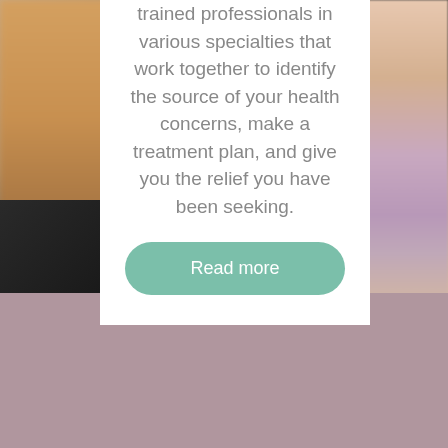trained professionals in various specialties that work together to identify the source of your health concerns, make a treatment plan, and give you the relief you have been seeking.
[Figure (photo): Background photo showing a person in a floral garment against a dark background, with blurred warm tones on the left side. The bottom portion transitions to a muted mauve/purple solid color section.]